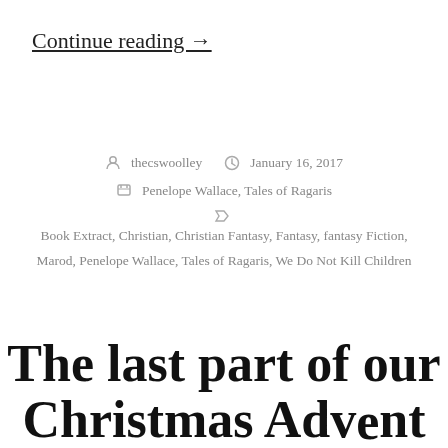Continue reading →
thecswoolley  January 16, 2017  Penelope Wallace, Tales of Ragaris  Book Extract, Christian, Christian Fantasy, Fantasy, fantasy Fiction, Marod, Penelope Wallace, Tales of Ragaris, We Do Not Kill Children
The last part of our Christmas Advent